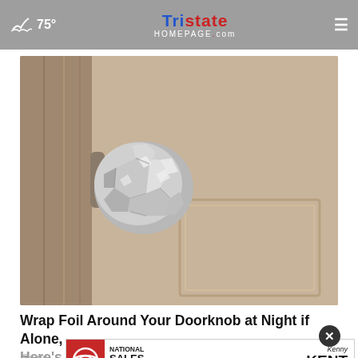75° TRISTATE HOMEPAGE.com
[Figure (photo): A door knob wrapped in crumpled aluminum foil on a wooden interior door]
Wrap Foil Around Your Doorknob at Night if Alone, Here's Why
So go
[Figure (other): Kenny Kent Toyota - National Sales Event advertisement banner with a red Toyota truck]